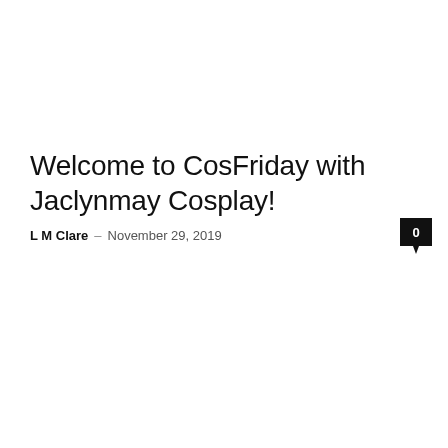Welcome to CosFriday with Jaclynmay Cosplay!
L M Clare – November 29, 2019
0